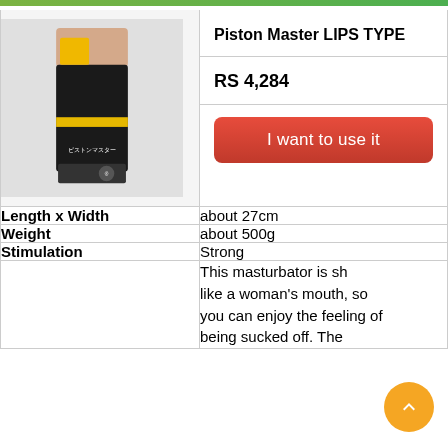[Figure (photo): Product photo of Piston Master LIPS TYPE in black and yellow packaging]
Piston Master LIPS TYPE
RS 4,284
I want to use it
| Attribute | Value |
| --- | --- |
| Length x Width | about 27cm |
| Weight | about 500g |
| Stimulation | Strong |
|  | This masturbator is sh... like a woman’s mouth, so you can enjoy the feeling of being sucked off. The |